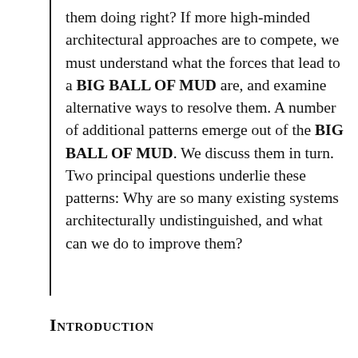them doing right? If more high-minded architectural approaches are to compete, we must understand what the forces that lead to a BIG BALL OF MUD are, and examine alternative ways to resolve them. A number of additional patterns emerge out of the BIG BALL OF MUD. We discuss them in turn. Two principal questions underlie these patterns: Why are so many existing systems architecturally undistinguished, and what can we do to improve them?
Introduction